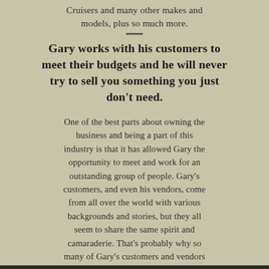Cruisers and many other makes and models, plus so much more.
Gary works with his customers to meet their budgets and he will never try to sell you something you just don't need.
One of the best parts about owning the business and being a part of this industry is that it has allowed Gary the opportunity to meet and work for an outstanding group of people. Gary's customers, and even his vendors, come from all over the world with various backgrounds and stories, but they all seem to share the same spirit and camaraderie. That's probably why so many of Gary's customers and vendors have become lifelong friends.